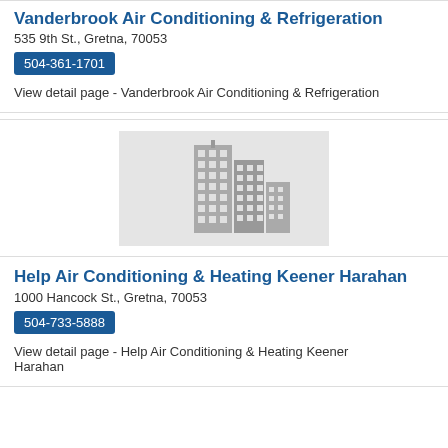Vanderbrook Air Conditioning & Refrigeration
535 9th St., Gretna, 70053
504-361-1701
View detail page - Vanderbrook Air Conditioning & Refrigeration
[Figure (illustration): Placeholder building/cityscape icon with gray buildings on light gray background]
Help Air Conditioning & Heating Keener Harahan
1000 Hancock St., Gretna, 70053
504-733-5888
View detail page - Help Air Conditioning & Heating Keener Harahan